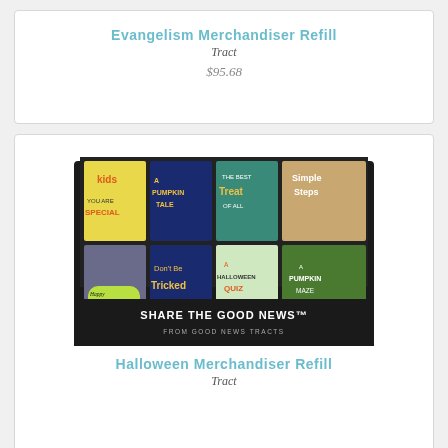Evangelism Merchandiser Refill
Tract
$95.68
[Figure (photo): A black merchandiser display box filled with Halloween-themed tract books including: Kids You Are Special, A Pumpkin Tale, The Best Treat of All, Simple Steps, Don't Be Tricked, A Halloween Quiz, A Pumpkin Maze, and a Happy Halloween card. The box reads SHARE THE GOOD NEWS from Good News Tracts.]
Halloween Merchandiser Refill
Tract